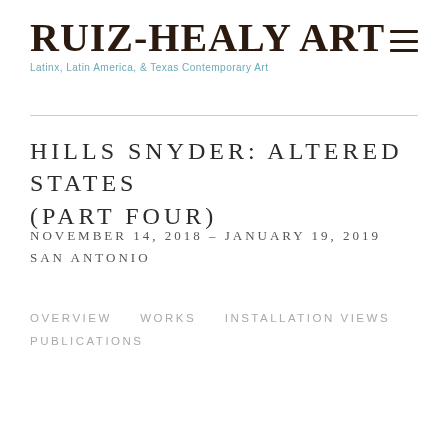RUIZ-HEALY ART
Latinx, Latin America, & Texas Contemporary Art
HILLS SNYDER: ALTERED STATES (PART FOUR)
NOVEMBER 14, 2018 - JANUARY 19, 2019
SAN ANTONIO
OVERVIEW
WORKS
INSTALLATION VIEWS
PUBLICATIONS